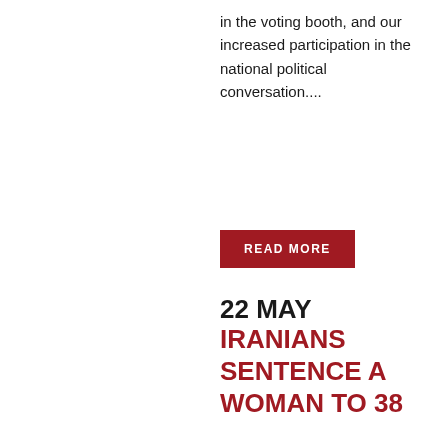in the voting booth, and our increased participation in the national political conversation....
[Figure (other): Red 'READ MORE' button with white uppercase text and red border]
22 MAY IRANIANS SENTENCE A WOMAN TO 38